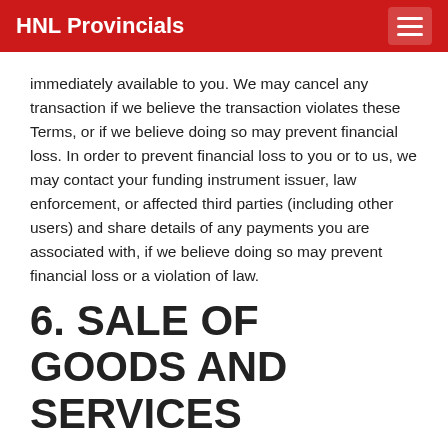HNL Provincials
immediately available to you. We may cancel any transaction if we believe the transaction violates these Terms, or if we believe doing so may prevent financial loss. In order to prevent financial loss to you or to us, we may contact your funding instrument issuer, law enforcement, or affected third parties (including other users) and share details of any payments you are associated with, if we believe doing so may prevent financial loss or a violation of law.
6. SALE OF GOODS AND SERVICES
We may sell goods or services or allow third parties to sell goods or services on the Website. We undertake to be as accurate as possible with all information regarding the